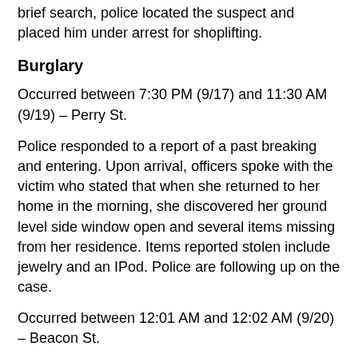brief search, police located the suspect and placed him under arrest for shoplifting.
Burglary
Occurred between 7:30 PM (9/17) and 11:30 AM (9/19) – Perry St.
Police responded to a report of a past breaking and entering. Upon arrival, officers spoke with the victim who stated that when she returned to her home in the morning, she discovered her ground level side window open and several items missing from her residence. Items reported stolen include jewelry and an IPod. Police are following up on the case.
Occurred between 12:01 AM and 12:02 AM (9/20) – Beacon St.
Police responded to a report of a burglary at a local jewelry store. Upon arrival, officers observed a broken store window and spoke with several witnesses who stated that they heard